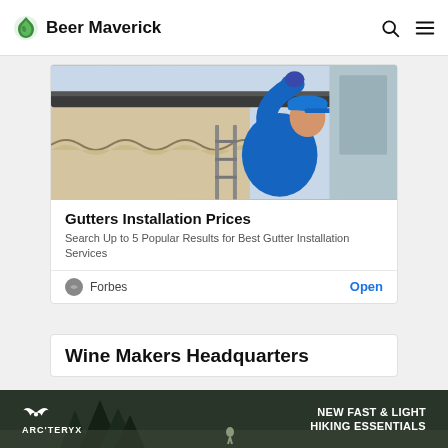Beer Maverick
[Figure (photo): Man in blue shirt and blue cap working on gutters/awning installation on a building exterior]
Gutters Installation Prices
Search Up to 5 Popular Results for Best Gutter Installation Services
Forbes  Open
Wine Makers Headquarters
[Figure (photo): Arc'teryx banner ad: NEW FAST & LIGHT HIKING ESSENTIALS]